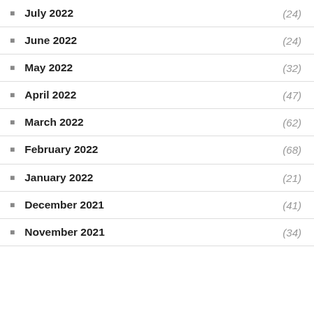July 2022 (24)
June 2022 (24)
May 2022 (32)
April 2022 (47)
March 2022 (62)
February 2022 (68)
January 2022 (21)
December 2021 (41)
November 2021 (34)